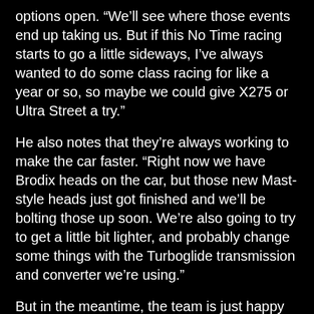options open. “We’ll see where those events end up taking us. But if this No Time racing starts to go a little sideways, I’ve always wanted to do some class racing for like a year or so, so maybe we could give X275 or Ultra Street a try.”
He also notes that they’re always working to make the car faster. “Right now we have Brodix heads on the car, but those new Mast-style heads just got finished and we’ll be bolting those up soon. We’re also going to try to get a little bit lighter, and probably change some things with the Turboglide transmission and converter we’re using.”
But in the meantime, the team is just happy to see that the No Time events are starting to attract attention from fans and sponsors alike. “It’s nice to see this racing starting to get noticed, and I’d like to think that our team…